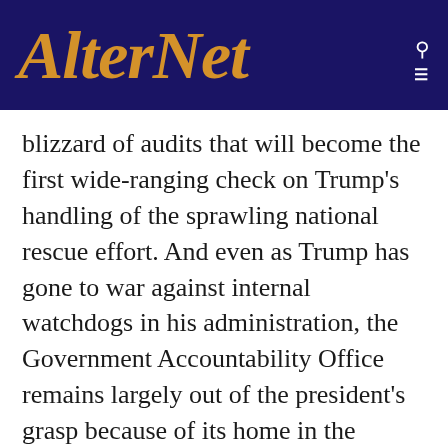AlterNet
blizzard of audits that will become the first wide-ranging check on Trump’s handling of the sprawling national rescue effort. And even as Trump has gone to war against internal watchdogs in his administration, the Government Accountability Office remains largely out of the president’s grasp because of its home in the legislative branch.”
The GAO, Cheney notes, is “an independent agency that works for Congress, not the president,” and has “far more protection from